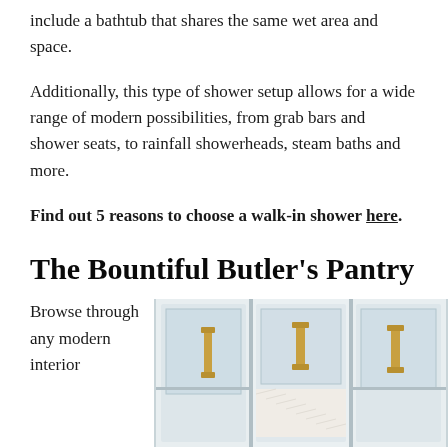include a bathtub that shares the same wet area and space.
Additionally, this type of shower setup allows for a wide range of modern possibilities, from grab bars and shower seats, to rainfall showerheads, steam baths and more.
Find out 5 reasons to choose a walk-in shower here.
The Bountiful Butler's Pantry
Browse through any modern interior
[Figure (photo): White kitchen cabinets with frosted glass panels and gold/brass bar handles, showing a butler's pantry style interior with herringbone tile detail]